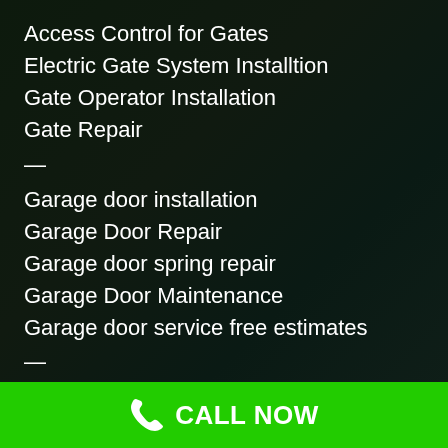Access Control for Gates
Electric Gate System Installtion
Gate Operator Installation
Gate Repair
—
Garage door installation
Garage Door Repair
Garage door spring repair
Garage Door Maintenance
Garage door service free estimates
—
Door Remote Programming
Keypad for Garage / Gate
Welding
Contact
CALL NOW